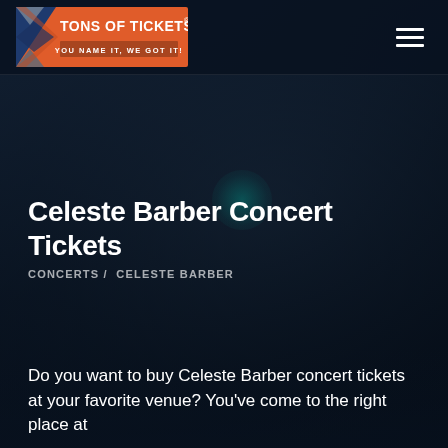[Figure (logo): Tons of Tickets logo — orange and blue X graphic with white text 'TONS OF TICKETS' and tagline 'YOU NAME IT, WE GOT IT!']
Celeste Barber Concert Tickets
CONCERTS /  CELESTE BARBER
Do you want to buy Celeste Barber concert tickets at your favorite venue? You've come to the right place at